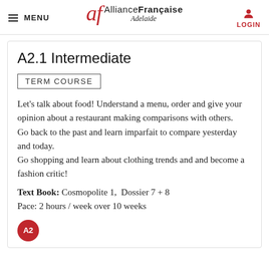MENU | Alliance Française Adelaide | LOGIN
A2.1 Intermediate
TERM COURSE
Let's talk about food! Understand a menu, order and give your opinion about a restaurant making comparisons with others.
Go back to the past and learn imparfait to compare yesterday and today.
Go shopping and learn about clothing trends and and become a fashion critic!
Text Book: Cosmopolite 1,  Dossier 7 + 8
Pace: 2 hours / week over 10 weeks